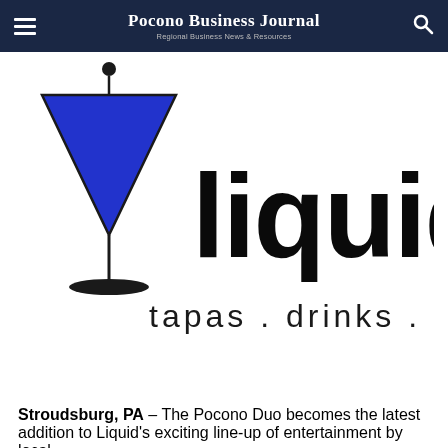Pocono Business Journal | Regional Business News & Resources
[Figure (logo): Liquid tapas . drinks . dining logo with a martini glass graphic in blue/black and the word 'liquid' in large black text, with 'tapas . drinks . dining' tagline below]
Stroudsburg, PA – The Pocono Duo becomes the latest addition to Liquid's exciting line-up of entertainment by local